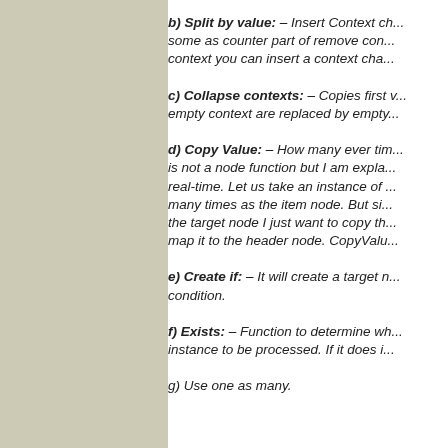b) Split by value: – Insert Context ch... some as counter part of remove con... context you can insert a context cha...
c) Collapse contexts: – Copies first v... empty context are replaced by empty...
d) Copy Value: – How many ever tim... is not a node function but I am expla... real-time. Let us take an instance of ... many times as the item node. But si... the target node I just want to copy th... map it to the header node. CopyValu...
e) Create if: – It will create a target n... condition.
f) Exists: – Function to determine wh... instance to be processed. If it does i...
g) Use one as many.